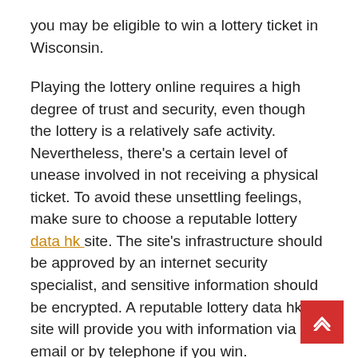you may be eligible to win a lottery ticket in Wisconsin.
Playing the lottery online requires a high degree of trust and security, even though the lottery is a relatively safe activity. Nevertheless, there's a certain level of unease involved in not receiving a physical ticket. To avoid these unsettling feelings, make sure to choose a reputable lottery data hk site. The site's infrastructure should be approved by an internet security specialist, and sensitive information should be encrypted. A reputable lottery data hk site will provide you with information via email or by telephone if you win.
In addition to the legalities, the lottery organiser should clearly state the rules. It must